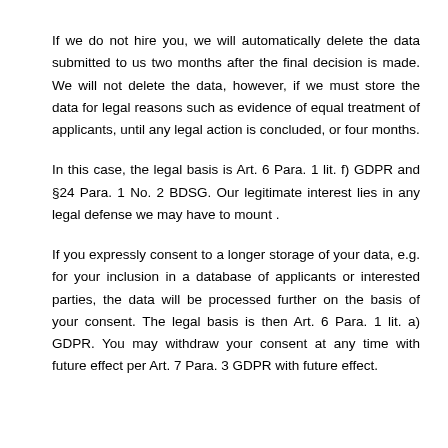If we do not hire you, we will automatically delete the data submitted to us two months after the final decision is made. We will not delete the data, however, if we must store the data for legal reasons such as evidence of equal treatment of applicants, until any legal action is concluded, or four months.
In this case, the legal basis is Art. 6 Para. 1 lit. f) GDPR and §24 Para. 1 No. 2 BDSG. Our legitimate interest lies in any legal defense we may have to mount .
If you expressly consent to a longer storage of your data, e.g. for your inclusion in a database of applicants or interested parties, the data will be processed further on the basis of your consent. The legal basis is then Art. 6 Para. 1 lit. a) GDPR. You may withdraw your consent at any time with future effect per Art. 7 Para. 3 GDPR with future effect.